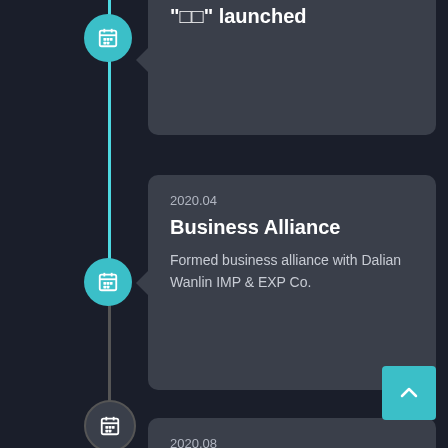[Figure (infographic): Timeline infographic with vertical teal/gray line and circular calendar icon nodes. Shows company history events.]
“��” launched
2020.04
Business Alliance
Formed business alliance with Dalian Wanlin IMP & EXP Co.
2020.08
20th anniversary of the company’s founding
Celebrating the 20th anniversary of